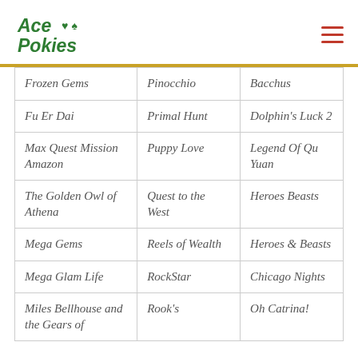Ace Pokies
| Frozen Gems | Pinocchio | Bacchus |
| Fu Er Dai | Primal Hunt | Dolphin's Luck 2 |
| Max Quest Mission Amazon | Puppy Love | Legend Of Qu Yuan |
| The Golden Owl of Athena | Quest to the West | Heroes Beasts |
| Mega Gems | Reels of Wealth | Heroes & Beasts |
| Mega Glam Life | RockStar | Chicago Nights |
| Miles Bellhouse and the Gears of | Rook's | Oh Catrina! |